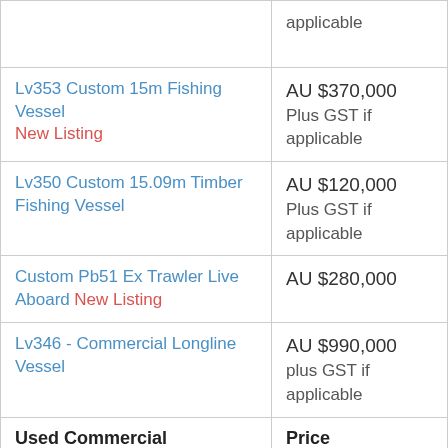|  |  |
| --- | --- |
| [partial row - top cut off] | applicable |
| Lv353 Custom 15m Fishing Vessel New Listing | AU $370,000 Plus GST if applicable |
| Lv350 Custom 15.09m Timber Fishing Vessel | AU $120,000 Plus GST if applicable |
| Custom Pb51 Ex Trawler Live Aboard New Listing | AU $280,000 |
| Lv346 - Commercial Longline Vessel | AU $990,000 plus GST if applicable |
| Used Commercial | Price |
| Lv340 - Inshore Commercial Netting Package | AU $65,000 plus GST if |